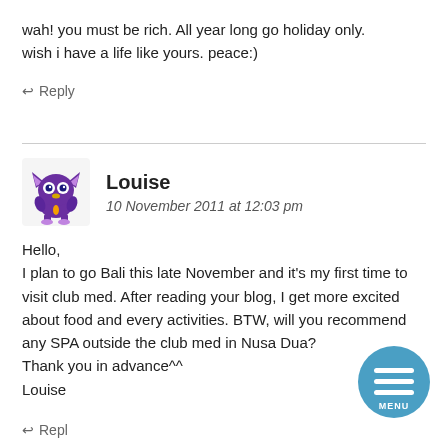wah! you must be rich. All year long go holiday only. wish i have a life like yours. peace:)
↩ Reply
Louise
10 November 2011 at 12:03 pm
Hello,
I plan to go Bali this late November and it's my first time to visit club med. After reading your blog, I get more excited about food and every activities. BTW, will you recommend any SPA outside the club med in Nusa Dua?
Thank you in advance^^
Louise
[Figure (logo): Blue circular menu button with three horizontal white lines and the text MENU]
↩ Repl